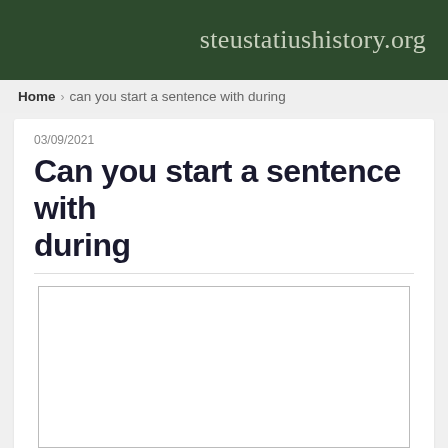steustatiushistory.org
Home › can you start a sentence with during
03/09/2021
Can you start a sentence with during
[Figure (other): Empty advertisement or embed box with grey border]
When I started the article, Can You End a Sent...